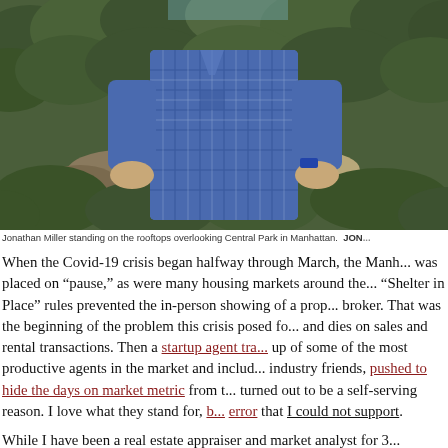[Figure (photo): Jonathan Miller standing on rooftops overlooking Central Park in Manhattan, wearing a blue plaid short-sleeve shirt with hands on hips, with an aerial view of forested parkland behind him.]
Jonathan Miller standing on the rooftops overlooking Central Park in Manhattan.  JON...
When the Covid-19 crisis began halfway through March, the Manh... was placed on "pause," as were many housing markets around the... "Shelter in Place" rules prevented the in-person showing of a prop... broker. That was the beginning of the problem this crisis posed fo... and dies on sales and rental transactions. Then a startup agent tra... up of some of the most productive agents in the market and includ... industry friends, pushed to hide the days on market metric from t... turned out to be a self-serving reason. I love what they stand for, b... error that I could not support.
While I have been a real estate appraiser and market analyst for 3...